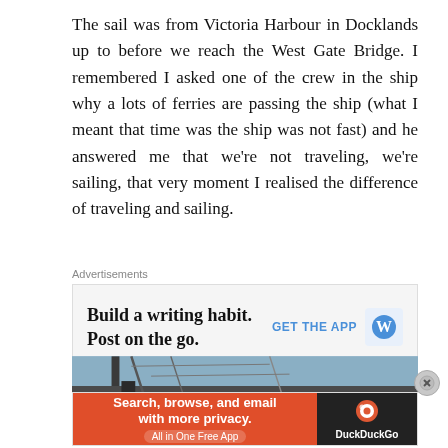The sail was from Victoria Harbour in Docklands up to before we reach the West Gate Bridge. I remembered I asked one of the crew in the ship why a lots of ferries are passing the ship (what I meant that time was the ship was not fast) and he answered me that we're not traveling, we're sailing, that very moment I realised the difference of traveling and sailing.
Advertisements
[Figure (screenshot): WordPress app advertisement: 'Build a writing habit. Post on the go.' with GET THE APP button and WordPress logo]
[Figure (photo): Photo of sailing ship masts and rigging against a blue sky]
Advertisements
[Figure (screenshot): DuckDuckGo advertisement: 'Search, browse, and email with more privacy. All in One Free App' with DuckDuckGo logo]